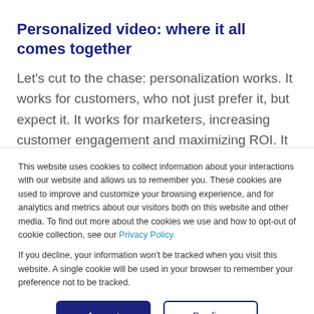Personalized video: where it all comes together
Let's cut to the chase: personalization works. It works for customers, who not just prefer it, but expect it. It works for marketers, increasing customer engagement and maximizing ROI. It works for business, boosting brand awareness and
This website uses cookies to collect information about your interactions with our website and allows us to remember you. These cookies are used to improve and customize your browsing experience, and for analytics and metrics about our visitors both on this website and other media. To find out more about the cookies we use and how to opt-out of cookie collection, see our Privacy Policy.
If you decline, your information won't be tracked when you visit this website. A single cookie will be used in your browser to remember your preference not to be tracked.